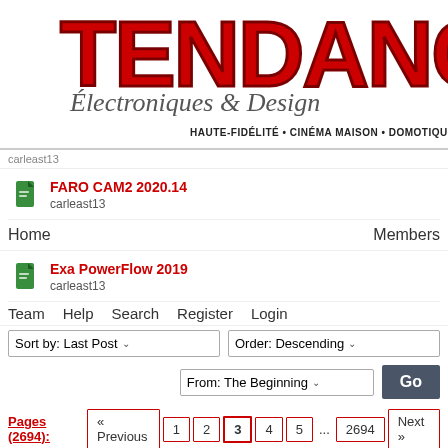[Figure (logo): Tendance Electroniques & Design logo with red bold TENDANCE text, cursive subtitle, and tagline HAUTE-FIDÉLITÉ • CINÉMA MAISON • DOMOTIQUE • ÉVÉN]
carleast13
FARO CAM2 2020.14
carleast13
Home    Members
Exa PowerFlow 2019
carleast13
Team    Help    Search    Register    Login
Sort by: Last Post ∨    Order: Descending ∨
From: The Beginning ∨    Go
Pages (2694): « Previous  1  2  3  4  5  ...  2694  Next »